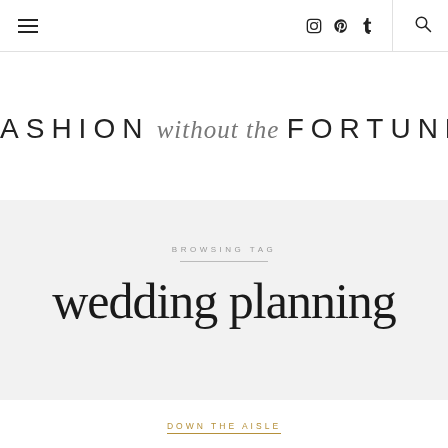Navigation bar with hamburger menu, social icons (Instagram, Pinterest, Tumblr), and search
[Figure (logo): Fashion without the Fortune blog logo — FASHION in sans-serif caps, 'without the' in script italic, FORTUNE in sans-serif caps]
BROWSING TAG
wedding planning
DOWN THE AISLE